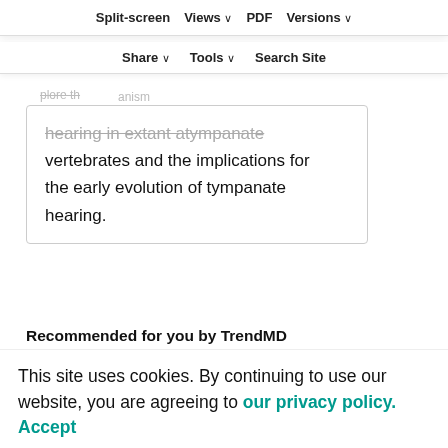Split-screen  Views  PDF  Versions  Share  Tools  Search Site
hearing in extant atympanate vertebrates and the implications for the early evolution of tympanate hearing.
Recommended for you by TrendMD
Swimming and diving energetics in dolphins: a stroke-by-stroke analysis for predicting the cost of flight responses in wild odontocetes
This site uses cookies. By continuing to use our website, you are agreeing to our privacy policy. Accept